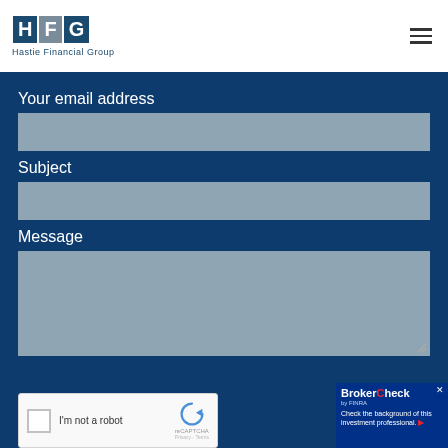[Figure (logo): Hastie Financial Group logo with HFG initials in colored squares and company name below]
Your email address
Subject
Message
[Figure (other): reCAPTCHA widget with checkbox and 'I'm not a robot' text]
[Figure (other): BrokerCheck by FINRA overlay banner with text 'Check the background of this investment professional.']